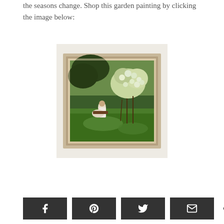the seasons change. Shop this garden painting by clicking the image below:
[Figure (photo): A framed vintage garden painting showing a woman in white dress seated among blooming white flowering shrubs and green trees, displayed in a light wooden/cream colored frame against a white background.]
Share buttons: Facebook, Pinterest, Twitter, Email | 3 SHARES